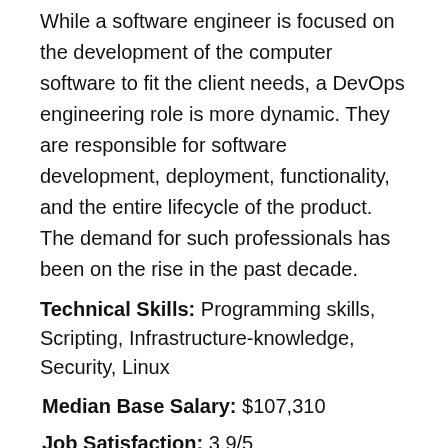While a software engineer is focused on the development of the computer software to fit the client needs, a DevOps engineering role is more dynamic. They are responsible for software development, deployment, functionality, and the entire lifecycle of the product. The demand for such professionals has been on the rise in the past decade.
Technical Skills: Programming skills, Scripting, Infrastructure-knowledge, Security, Linux
Median Base Salary: $107,310
Job Satisfaction: 3.9/5
Expected Growth Rate: 20%